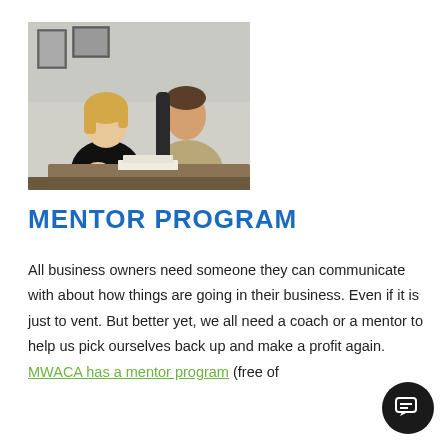[Figure (photo): Two people sitting at a desk in a meeting — a woman with blonde hair in a black top on the left and a man in a khaki shirt on the right, appearing to have a business conversation. Framed pictures on the wall behind them.]
MENTOR PROGRAM
All business owners need someone they can communicate with about how things are going in their business. Even if it is just to vent. But better yet, we all need a coach or a mentor to help us pick ourselves back up and make a profit again. MWACA has a mentor program (free of